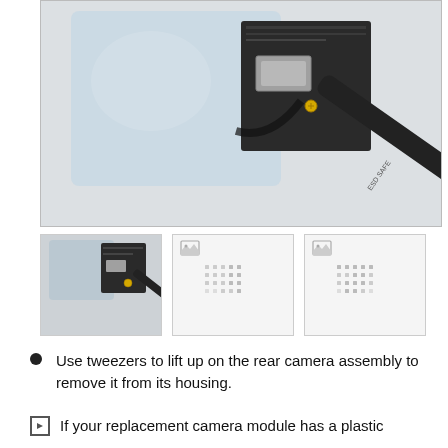[Figure (photo): Close-up photo of tweezers lifting a rear camera assembly from a smartphone's internal housing. An ESD SAFE spudger tool is visible in the lower right area of the image.]
[Figure (photo): Thumbnail 1: Close-up of tweezers and camera assembly removal from device.]
[Figure (photo): Thumbnail 2: Placeholder image with broken image icon and dotted grid pattern.]
[Figure (photo): Thumbnail 3: Placeholder image with broken image icon and dotted grid pattern.]
Use tweezers to lift up on the rear camera assembly to remove it from its housing.
If your replacement camera module has a plastic